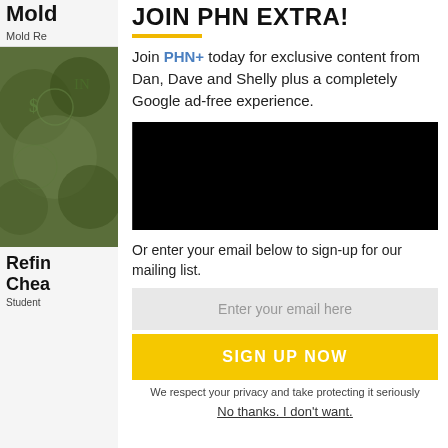Mold
Mold Re
[Figure (photo): Money bills close-up photo background]
Refin Chea
Student
JOIN PHN EXTRA!
Join PHN+ today for exclusive content from Dan, Dave and Shelly plus a completely Google ad-free experience.
[Figure (infographic): PHN+ Subscribe Now banner - FOR EXCLUSIVE INSIGHT AND ANALYSIS FROM DAN KINGERSKI & SHELLY ANDERSON]
Or enter your email below to sign-up for our mailing list.
Enter your email here
SIGN UP NOW
We respect your privacy and take protecting it seriously
No thanks. I don't want.